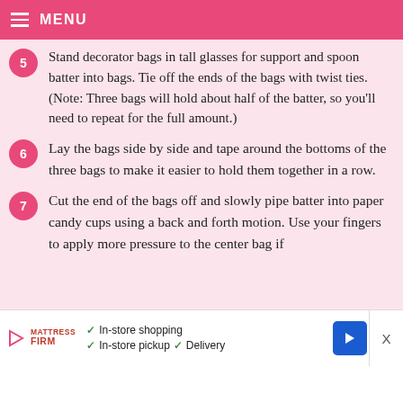MENU
Stand decorator bags in tall glasses for support and spoon batter into bags. Tie off the ends of the bags with twist ties. (Note: Three bags will hold about half of the batter, so you'll need to repeat for the full amount.)
Lay the bags side by side and tape around the bottoms of the three bags to make it easier to hold them together in a row.
Cut the end of the bags off and slowly pipe batter into paper candy cups using a back and forth motion. Use your fingers to apply more pressure to the center bag if
[Figure (other): Mattress Firm advertisement banner with play button, logo, checkmarks for In-store shopping, In-store pickup, Delivery, and a blue arrow button. An X close button on the right.]